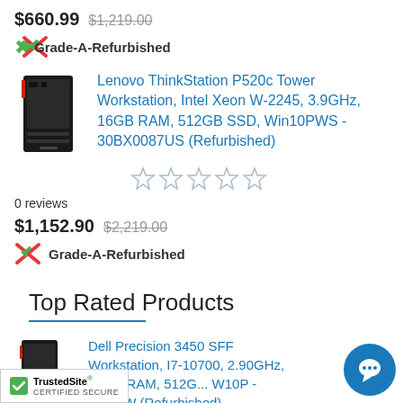$660.99  $1,219.00
Grade-A-Refurbished
[Figure (photo): Lenovo ThinkStation P520c Tower desktop computer product photo, black tower unit]
Lenovo ThinkStation P520c Tower Workstation, Intel Xeon W-2245, 3.9GHz, 16GB RAM, 512GB SSD, Win10PWS - 30BX0087US (Refurbished)
[Figure (other): 5 empty star rating icons]
0 reviews
$1,152.90  $2,219.00
Grade-A-Refurbished
Top Rated Products
[Figure (photo): Dell Precision 3450 SFF Workstation product photo, small form factor desktop computer]
Dell Precision 3450 SFF Workstation, I7-10700, 2.90GHz, 16GB RAM, 512G... W10P - FHH0W (Refurbished)
[Figure (logo): TrustedSite CERTIFIED SECURE badge with green checkmark]
[Figure (other): Blue chat bubble icon in bottom right corner]